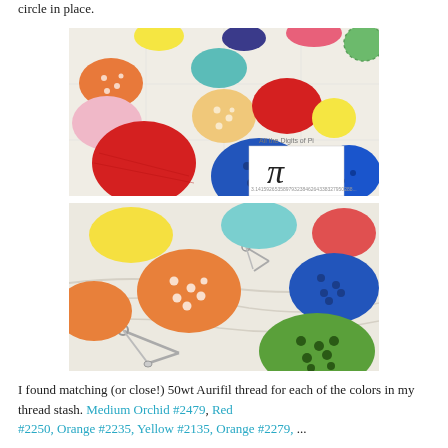circle in place.
[Figure (photo): Photo of colorful fabric circles (dots) arranged on a white quilt background, with a pi symbol visible on a paper card. Circles are in red, blue, orange, teal, yellow, green, pink colors with various patterns.]
[Figure (photo): Close-up photo of colorful fabric circles pinned onto white quilt fabric. Visible circles include yellow, teal, orange (with white dots), blue (with dots), orange (plain), and green (with black dots). A safety pin is visible in the foreground.]
I found matching (or close!) 50wt Aurifil thread for each of the colors in my thread stash. Medium Orchid #2479, Red #2250, Orange #2235, Yellow #2135, Orange #2279, ...